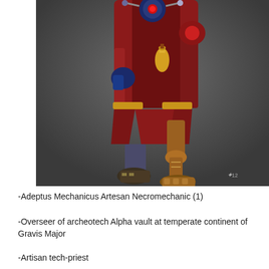[Figure (illustration): Digital concept art illustration of a character from the Adeptus Mechanicus/Warhammer 40K universe. The figure wears a long dark red/maroon robe with gold trim at the cuffs, and has mechanical/cybernetic legs visible below the robe. One leg appears to be a bronze/copper mechanical prosthetic. The figure holds what appears to be a golden flask or vessel. The background is a dark grey. An artist signature is visible in the lower right corner.]
-Adeptus Mechanicus Artesan Necromechanic (1)
-Overseer of archeotech Alpha vault at temperate continent of Gravis Major
-Artisan tech-priest